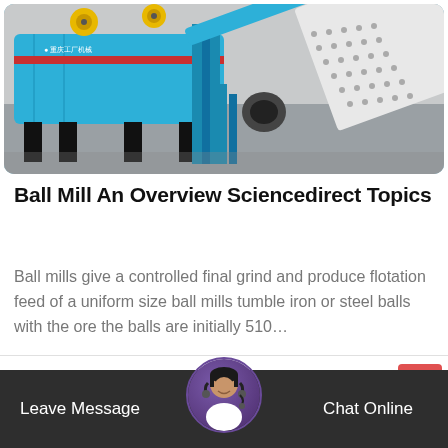[Figure (photo): Industrial blue ball mill / vibrating screen machine photographed on a factory floor, large blue metal frame with yellow gears and perforated white panels]
Ball Mill An Overview Sciencedirect Topics
Ball mills give a controlled final grind and produce flotation feed of a uniform size ball mills tumble iron or steel balls with the ore the balls are initially 510…
READ MORE  >
Leave Message   Chat Online